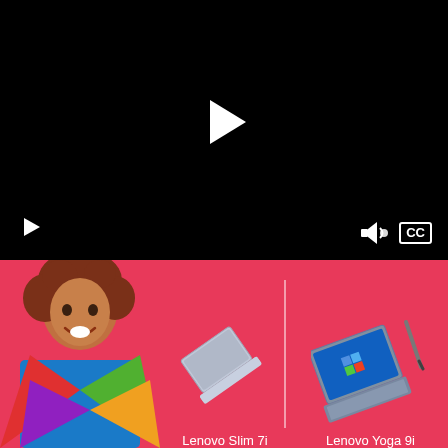[Figure (screenshot): Black video player with a large white play button triangle in the center, a smaller play button at bottom left, a speaker/volume icon and a CC (closed captions) button at bottom right.]
[Figure (photo): Pink/coral background advertisement showing a smiling woman with curly hair in colorful clothes on the left, a Lenovo Slim 7i laptop in the center-left, a vertical divider line, and a Lenovo Yoga 9i laptop on the right. Product names labeled below each laptop in white text.]